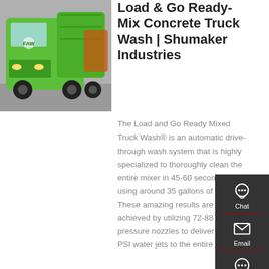[Figure (photo): Green ready-mix concrete truck (dump truck style) parked indoors, viewed from front-left angle. Bright lime green color.]
Load & Go Ready-Mix Concrete Truck Wash | Shumaker Industries
The Load and Go Ready Mixed Truck Wash® is an automatic drive-through wash system that is highly specialized to thoroughly clean the entire mixer in 45-60 seconds, using around 35 gallons of water. These amazing results are achieved by utilizing 72-88 high pressure nozzles to deliver 1,200 PSI water jets to the entire mixer.